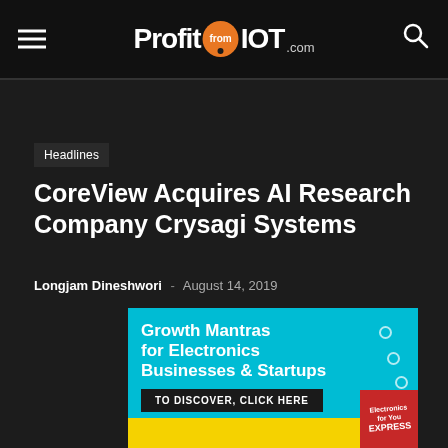ProfitFromIOT.com
Headlines
CoreView Acquires AI Research Company Crysagi Systems
Longjam Dineshwori - August 14, 2019
[Figure (infographic): Advertisement banner with cyan background reading 'Growth Mantras for Electronics Businesses & Startups' with a 'TO DISCOVER, CLICK HERE' button, yellow strip at bottom, and magazine cover in corner]